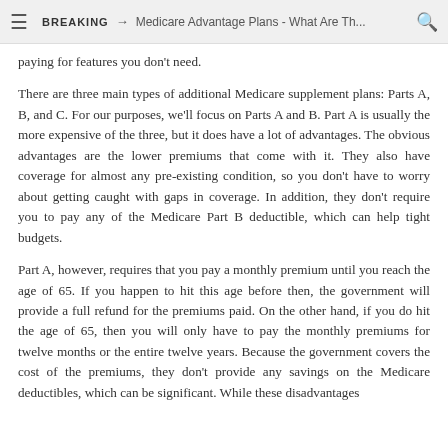≡  BREAKING → Medicare Advantage Plans - What Are Th...  🔍
paying for features you don't need.
There are three main types of additional Medicare supplement plans: Parts A, B, and C. For our purposes, we'll focus on Parts A and B. Part A is usually the more expensive of the three, but it does have a lot of advantages. The obvious advantages are the lower premiums that come with it. They also have coverage for almost any pre-existing condition, so you don't have to worry about getting caught with gaps in coverage. In addition, they don't require you to pay any of the Medicare Part B deductible, which can help tight budgets.
Part A, however, requires that you pay a monthly premium until you reach the age of 65. If you happen to hit this age before then, the government will provide a full refund for the premiums paid. On the other hand, if you do hit the age of 65, then you will only have to pay the monthly premiums for twelve months or the entire twelve years. Because the government covers the cost of the premiums, they don't provide any savings on the Medicare deductibles, which can be significant. While these disadvantages